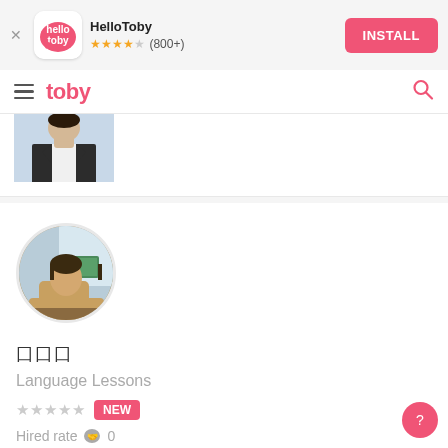[Figure (screenshot): HelloToby app install banner with logo, star rating (800+), and INSTALL button]
[Figure (logo): Toby navigation bar with hamburger menu, toby logo in pink, and search icon]
[Figure (photo): Partially visible profile photo of a person in a suit (cropped to chest/neck area)]
[Figure (photo): Circular avatar photo of a woman sitting at a desk in an office]
囗囗囗
Language Lessons
★★★★★ NEW
Hired rate 🤝 0
Door-to-door teaching. I immigrated to Hong Kong from